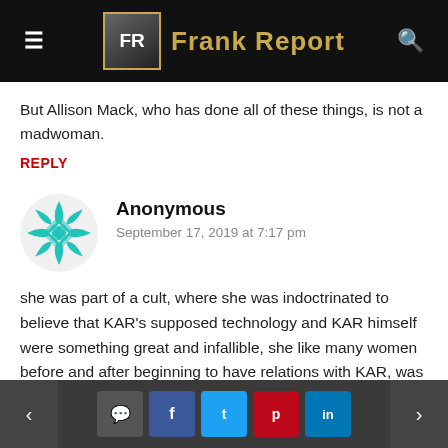Frank Report
But Allison Mack, who has done all of these things, is not a madwoman.
REPLY
Anonymous
September 17, 2019 at 7:17 pm
she was part of a cult, where she was indoctrinated to believe that KAR's supposed technology and KAR himself were something great and infallible, she like many women before and after beginning to have relations with KAR, was seduced by KAR with the help from his image of a mentor superior to his students, an
< [social share buttons] >